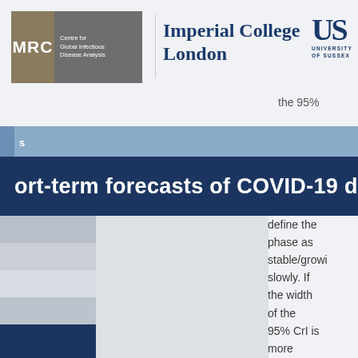[Figure (logo): MRC Centre for Global Infectious Disease Analysis logo, Imperial College London logo, and University of Sussex logo in header]
Short-term forecasts of COVID-19 de...
the 95%
define the phase as stable/growing slowly. If the width of the 95% CrI is more than 1, the phase is defined as uncertain.
ber